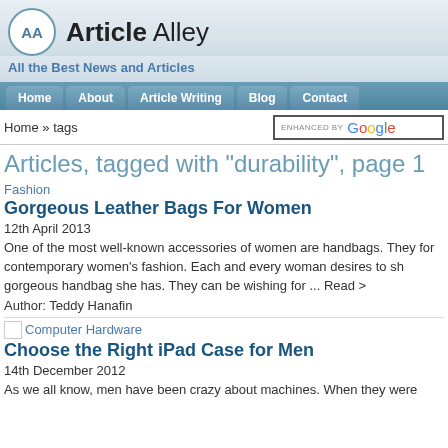Article Alley
All the Best News and Articles
Articles, tagged with "durability", page 1
Home » tags
Fashion
Gorgeous Leather Bags For Women
12th April 2013
One of the most well-known accessories of women are handbags. They for contemporary women's fashion. Each and every woman desires to sh gorgeous handbag she has. They can be wishing for ... Read >
Author: Teddy Hanafin
Computer Hardware
Choose the Right iPad Case for Men
14th December 2012
As we all know, men have been crazy about machines. When they were